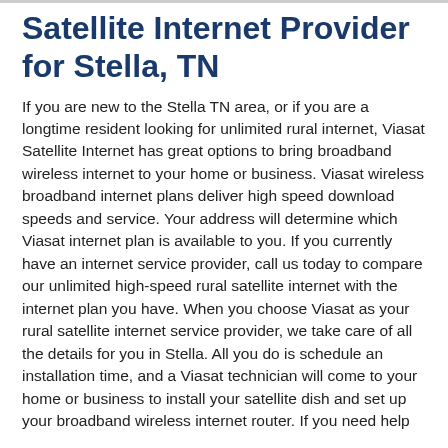Satellite Internet Provider for Stella, TN
If you are new to the Stella TN area, or if you are a longtime resident looking for unlimited rural internet, Viasat Satellite Internet has great options to bring broadband wireless internet to your home or business. Viasat wireless broadband internet plans deliver high speed download speeds and service. Your address will determine which Viasat internet plan is available to you. If you currently have an internet service provider, call us today to compare our unlimited high-speed rural satellite internet with the internet plan you have. When you choose Viasat as your rural satellite internet service provider, we take care of all the details for you in Stella. All you do is schedule an installation time, and a Viasat technician will come to your home or business to install your satellite dish and set up your broadband wireless internet router. If you need help